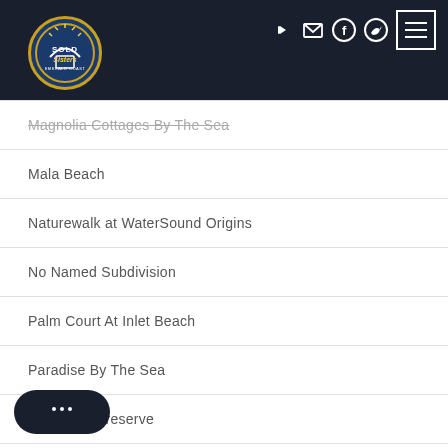Sold Sisters — website navigation header with logo and icons
Magnolia Cottages By The Sea
Mala Beach
Naturewalk at WaterSound Origins
No Named Subdivision
Palm Court At Inlet Beach
Paradise By The Sea
Pinewood Preserve
...e (partially visible)